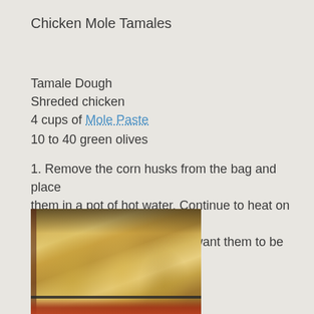Chicken Mole Tamales
Tamale Dough
Shreded chicken
4 cups of Mole Paste
10 to 40 green olives
1. Remove the corn husks from the bag and place them in a pot of hot water. Continue to heat on low for  at least 30 minutes. You want them to be pliable.
[Figure (photo): Corn husks soaking in a dark pot of hot water on a stove, the husks are pale yellow and pliable-looking, arranged in a bowl/pot.]